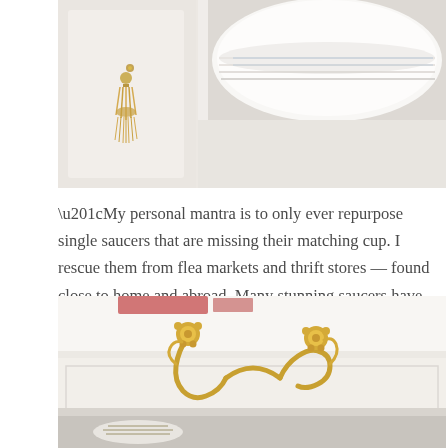[Figure (photo): Close-up photo of a white cabinet with a gold tassel key/keyhole decoration on the left, and white stacked plates/dishes visible on a shelf to the right.]
“My personal mantra is to only ever repurpose single saucers that are missing their matching cup. I rescue them from flea markets and thrift stores — found close to home and abroad. Many stunning saucers have been ‘inherited’ from the estates of other life-long collectors.”
[Figure (photo): Close-up photo of an ornate gold/brass drawer pull handle on a white painted drawer, with patterned porcelain dishes partially visible in the open drawer below.]